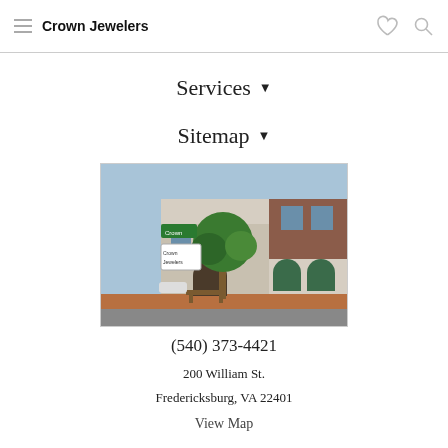Crown Jewelers
Services ▾
Sitemap ▾
[Figure (photo): Exterior photo of Crown Jewelers store building in Fredericksburg, VA — a two-story beige/white building with arched windows, green awnings, a green sign reading 'Crown Jewelers', and trees along a brick sidewalk.]
(540) 373-4421
200 William St.
Fredericksburg, VA 22401
View Map